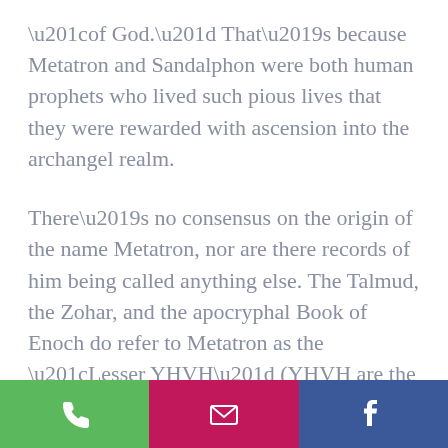“of God.” That’s because Metatron and Sandalphon were both human prophets who lived such pious lives that they were rewarded with ascension into the archangel realm.
There’s no consensus on the origin of the name Metatron, nor are there records of him being called anything else. The Talmud, the Zohar, and the apocryphal Book of Enoch do refer to Metatron as the “Lesser YHVH” (YHVH are the Hebrew letters
[Figure (other): Footer navigation bar with three buttons: green phone icon, magenta/pink email envelope icon, and dark blue Facebook 'f' icon]